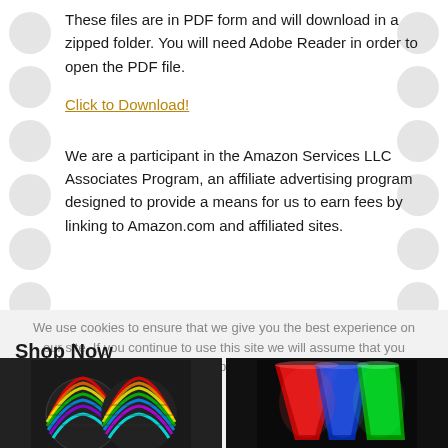These files are in PDF form and will download in a zipped folder. You will need Adobe Reader in order to open the PDF file.
Click to Download!
We are a participant in the Amazon Services LLC Associates Program, an affiliate advertising program designed to provide a means for us to earn fees by linking to Amazon.com and affiliated sites.
We use cookies to ensure that we give you the best experience on our site. If you continue to use this site we will assume that you are happy with it.
Shop Now
[Figure (photo): Two colorful LED disco ball lights on dark background]
[Figure (photo): Three glowing LED cups in red, blue and green colors on dark background]